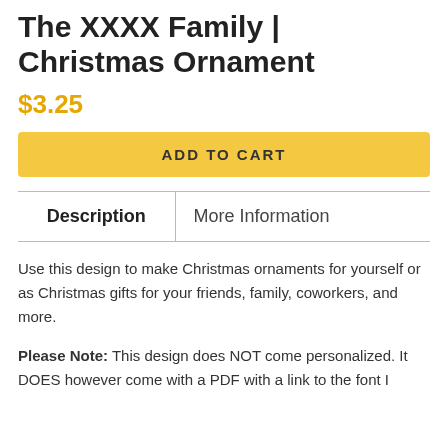The XXXX Family | Christmas Ornament
$3.25
ADD TO CART
Description	More Information
Use this design to make Christmas ornaments for yourself or as Christmas gifts for your friends, family, coworkers, and more.
Please Note: This design does NOT come personalized. It DOES however come with a PDF with a link to the font I